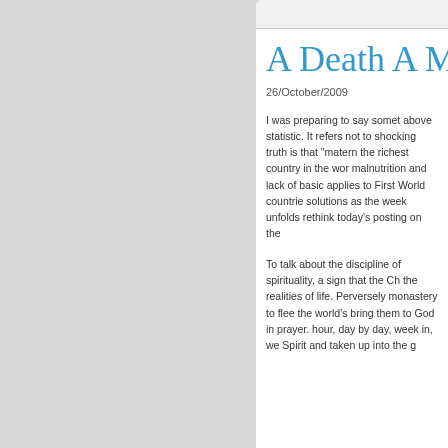A Death A M
26/October/2009
I was preparing to say somet above statistic. It refers not to shocking truth is that "matern the richest country in the wor malnutrition and lack of basic applies to First World countrie solutions as the week unfolds rethink today's posting on the
To talk about the discipline of spirituality, a sign that the Ch the realities of life. Perversely monastery to flee the world's bring them to God in prayer. hour, day by day, week in, we Spirit and taken up into the g